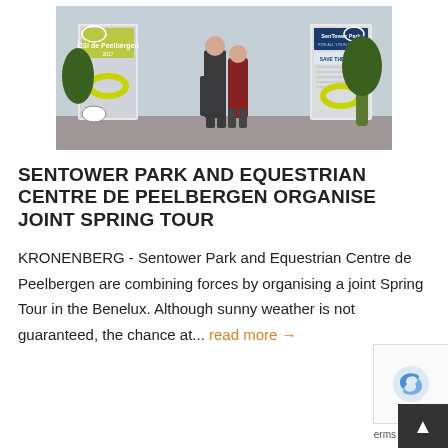[Figure (photo): Two people standing in front of event banners for CSI de Peelbergen 2017 and SenTower Park 'Save the Dates', with circular horse-jumping logo decorations on stands with yellow rings.]
SENTOWER PARK AND EQUESTRIAN CENTRE DE PEELBERGEN ORGANISE JOINT SPRING TOUR
KRONENBERG - Sentower Park and Equestrian Centre de Peelbergen are combining forces by organising a joint Spring Tour in the Benelux. Although sunny weather is not guaranteed, the chance at... read more →